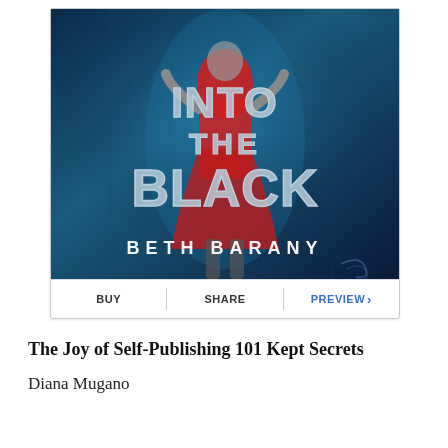[Figure (illustration): Book cover for 'Into the Black' by Beth Barany. Dark sci-fi cover with a woman in red dress, large metallic text reading 'INTO THE BLACK' and author name 'BETH BARANY' at the bottom.]
BUY | SHARE | PREVIEW ›
The Joy of Self-Publishing 101 Kept Secrets
Diana Mugano